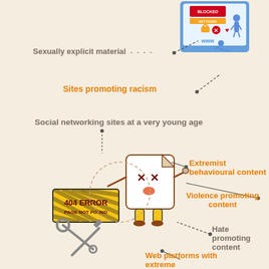[Figure (infographic): Infographic showing types of blocked/harmful internet content with labels connected by dashed lines to a blocked website illustration and a 404 error character. Items listed: Sexually explicit material, Sites promoting racism, Social networking sites at a very young age, Extremist behavioural content, Violence promoting content, Hate promoting content, Web platforms with extreme views.]
Sexually explicit material
Sites promoting racism
Social networking sites at a very young age
Extremist behavioural content
Violence promoting content
Hate promoting content
Web platforms with extreme